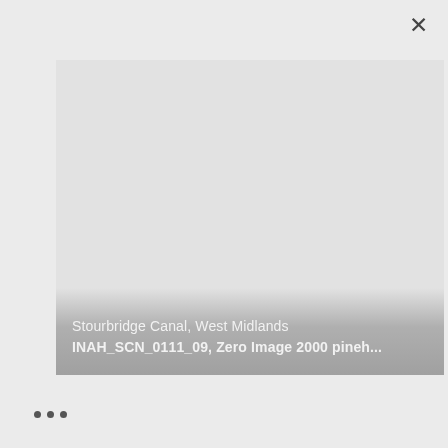[Figure (photo): A light grey/white image area showing a photo viewer interface with a close button (×) in the top right corner. The image itself appears blank or very lightly rendered. An overlay caption bar at the bottom of the image area contains text about Stourbridge Canal, West Midlands.]
Stourbridge Canal, West Midlands
INAH_SCN_0111_09, Zero Image 2000 pineh...
• • •